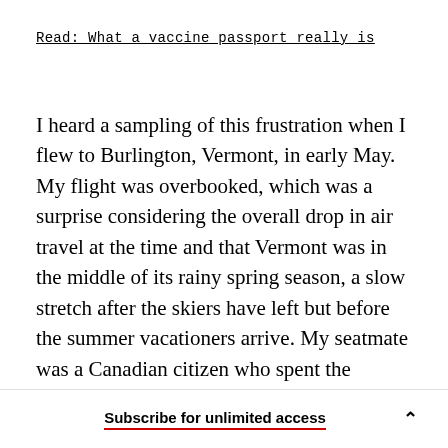Read: What a vaccine passport really is
I heard a sampling of this frustration when I flew to Burlington, Vermont, in early May. My flight was overbooked, which was a surprise considering the overall drop in air travel at the time and that Vermont was in the middle of its rainy spring season, a slow stretch after the skiers have left but before the summer vacationers arrive. My seatmate was a Canadian citizen who spent the beginning of
Subscribe for unlimited access